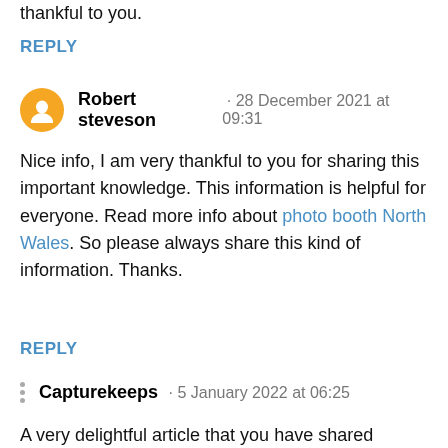thankful to you.
REPLY
Robert steveson · 28 December 2021 at 09:31
Nice info, I am very thankful to you for sharing this important knowledge. This information is helpful for everyone. Read more info about photo booth North Wales. So please always share this kind of information. Thanks.
REPLY
Capturekeeps · 5 January 2022 at 06:25
A very delightful article that you have shared here. Edmonton maternity photography service Your blog is a valuable and engaging article for us, and also I will share it with my companions who need this info. Thankful to